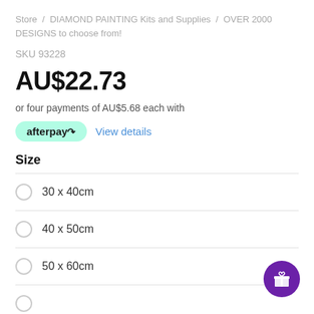Store / DIAMOND PAINTING Kits and Supplies / OVER 2000 DESIGNS to choose from!
SKU 93228
AU$22.73
or four payments of AU$5.68 each with
[Figure (logo): Afterpay logo badge in mint green rounded rectangle with View details link]
Size
30 x 40cm
40 x 50cm
50 x 60cm